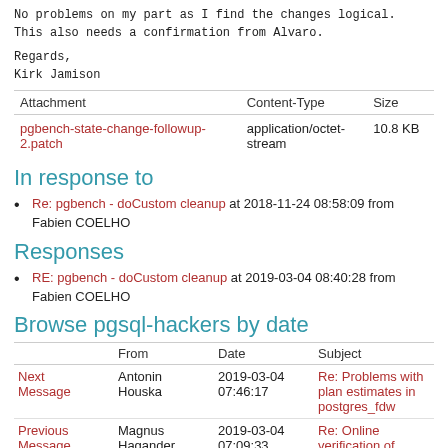No problems on my part as I find the changes logical.
This also needs a confirmation from Alvaro.
Regards,
Kirk Jamison
| Attachment | Content-Type | Size |
| --- | --- | --- |
| pgbench-state-change-followup-2.patch | application/octet-stream | 10.8 KB |
In response to
Re: pgbench - doCustom cleanup at 2018-11-24 08:58:09 from Fabien COELHO
Responses
RE: pgbench - doCustom cleanup at 2019-03-04 08:40:28 from Fabien COELHO
Browse pgsql-hackers by date
|  | From | Date | Subject |
| --- | --- | --- | --- |
| Next Message | Antonin Houska | 2019-03-04 07:46:17 | Re: Problems with plan estimates in postgres_fdw |
| Previous Message | Magnus Hagander | 2019-03-04 07:09:33 | Re: Online verification of checksums |